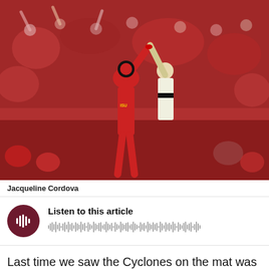[Figure (photo): Wrestling match photo: Iowa State wrestler in red singlet has arm raised by referee in front of a packed, cheering crowd mostly wearing red (Iowa State colors).]
Jacqueline Cordova
[Figure (infographic): Audio player widget with dark red circular play button with waveform icon, 'Listen to this article' heading, and an audio waveform bar visualization below.]
Last time we saw the Cyclones on the mat was just last weekend when they took 6th place at the extremely